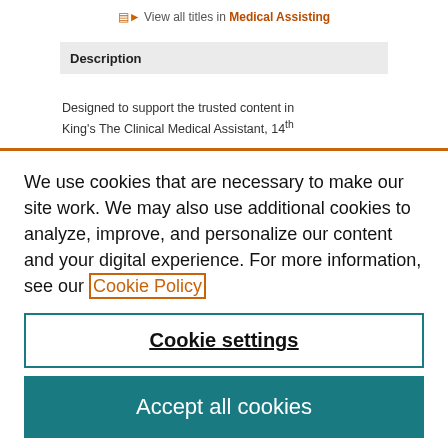View all titles in Medical Assisting
Description
Designed to support the trusted content in King's The Clinical Medical Assistant, 14th
We use cookies that are necessary to make our site work. We may also use additional cookies to analyze, improve, and personalize our content and your digital experience. For more information, see our Cookie Policy
Cookie settings
Accept all cookies